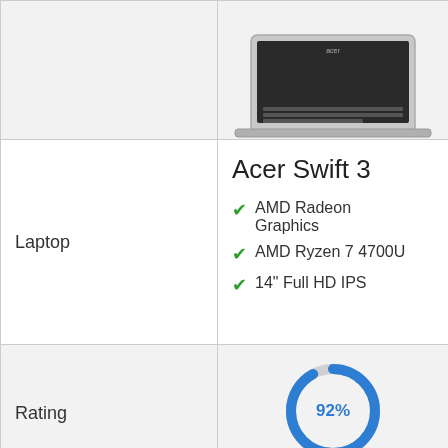[Figure (photo): Acer Swift 3 laptop photo shown from above, silver body with keyboard visible]
Laptop
Acer Swift 3
AMD Radeon Graphics
AMD Ryzen 7 4700U
14" Full HD IPS
Rating
[Figure (donut-chart): Rating]
Buy Now
VIEW ON AMAZON